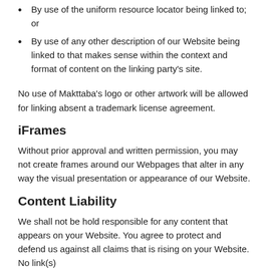By use of the uniform resource locator being linked to; or
By use of any other description of our Website being linked to that makes sense within the context and format of content on the linking party's site.
No use of Makttaba's logo or other artwork will be allowed for linking absent a trademark license agreement.
iFrames
Without prior approval and written permission, you may not create frames around our Webpages that alter in any way the visual presentation or appearance of our Website.
Content Liability
We shall not be hold responsible for any content that appears on your Website. You agree to protect and defend us against all claims that is rising on your Website. No link(s)